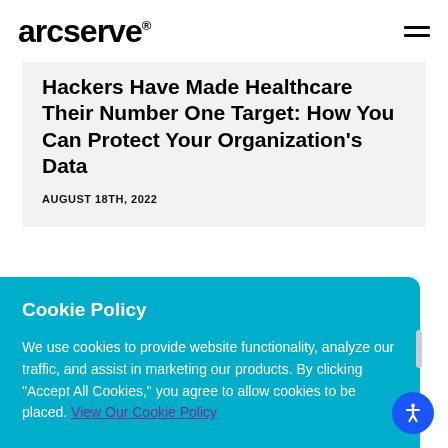arcserve
Hackers Have Made Healthcare Their Number One Target: How You Can Protect Your Organization's Data
AUGUST 18TH, 2022
Cookie Policy
We use cookies to provide website functionality, analyze our traffic, and assist in marketing our products. By clicking "Accept All Cookies," you agree to allow cookies to be placed. View Our Cookie Policy